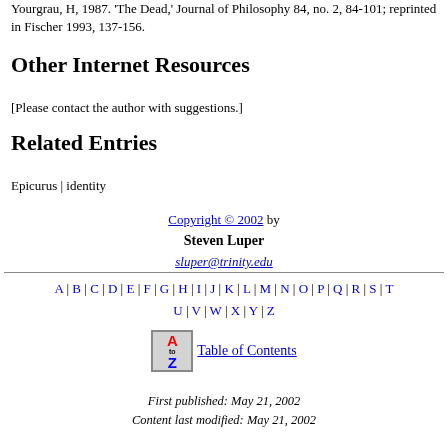Yourgrau, H, 1987. 'The Dead,' Journal of Philosophy 84, no. 2, 84-101; reprinted in Fischer 1993, 137-156.
Other Internet Resources
[Please contact the author with suggestions.]
Related Entries
Epicurus | identity
Copyright © 2002 by Steven Luper sluper@trinity.edu
A | B | C | D | E | F | G | H | I | J | K | L | M | N | O | P | Q | R | S | T | U | V | W | X | Y | Z
[Figure (logo): A to Z icon for Table of Contents]
Table of Contents
First published: May 21, 2002
Content last modified: May 21, 2002